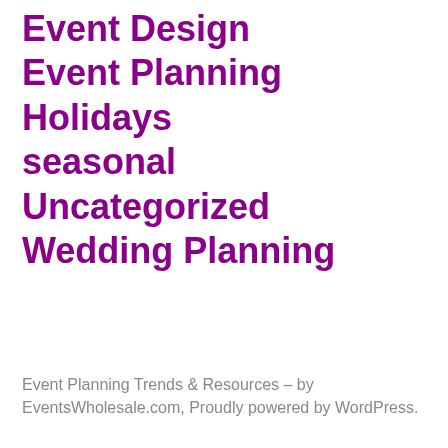Event Design
Event Planning
Holidays
seasonal
Uncategorized
Wedding Planning
Event Planning Trends & Resources – by EventsWholesale.com, Proudly powered by WordPress.